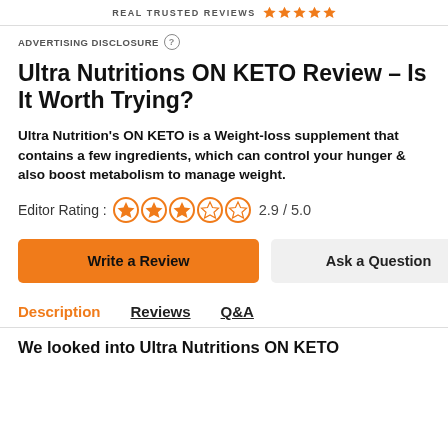REAL TRUSTED REVIEWS ★★★★★
ADVERTISING DISCLOSURE ?
Ultra Nutritions ON KETO Review – Is It Worth Trying?
Ultra Nutrition's ON KETO is a Weight-loss supplement that contains a few ingredients, which can control your hunger & also boost metabolism to manage weight.
Editor Rating : ❍❍❍❍❍ 2.9 / 5.0
Write a Review | Ask a Question
Description | Reviews | Q&A
We looked into Ultra Nutritions ON KETO